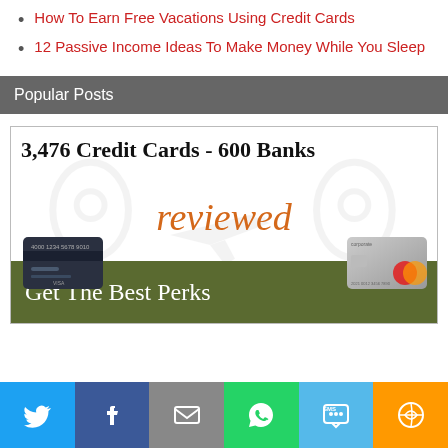How To Earn Free Vacations Using Credit Cards
12 Passive Income Ideas To Make Money While You Sleep
Popular Posts
[Figure (illustration): Advertisement banner: '3,476 Credit Cards - 600 Banks reviewed - Get The Best Perks' with background map pin icons and airplane silhouette, two credit cards shown, dark olive green bottom bar.]
[Figure (infographic): Social sharing bar with Twitter, Facebook, Email, WhatsApp, SMS, and More icons on colored backgrounds.]